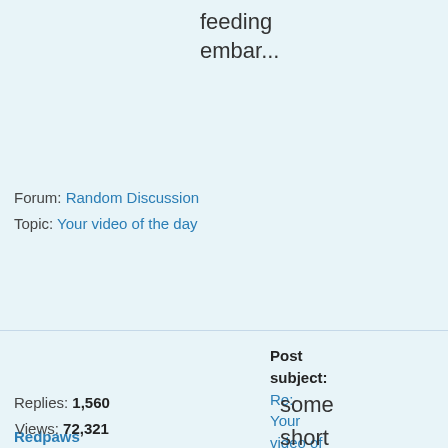feeding embar...
Forum: Random Discussion
Topic: Your video of the day
Redpaws
Post subject: Re: Your video of the day Posted: 07 Jun 2022, 4:31 am
Replies: 1,560 Views: 72,321
some short and